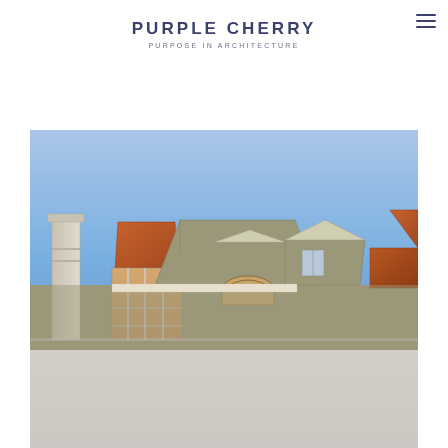PURPLE CHERRY — PURPOSE IN ARCHITECTURE
[Figure (illustration): Architectural elevation rendering of a residential building showing rooflines with copper-toned pyramidal and peaked roofs, a chimney, arched window, and a glazed entry structure, set against a blue sky gradient above and a light grey ground plane below.]